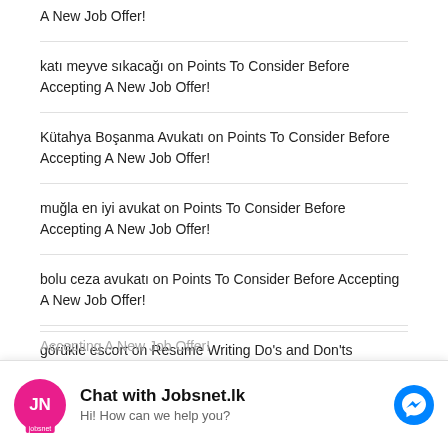A New Job Offer!
katı meyve sıkacağı on Points To Consider Before Accepting A New Job Offer!
Kütahya Boşanma Avukatı on Points To Consider Before Accepting A New Job Offer!
muğla en iyi avukat on Points To Consider Before Accepting A New Job Offer!
bolu ceza avukatı on Points To Consider Before Accepting A New Job Offer!
görükle escort on Resume Writing Do's and Don'ts
BooHed on Tips For Preparing A Elevator Pitch
Accepting A New Job Offer!
Chat with Jobsnet.lk
Hi! How can we help you?